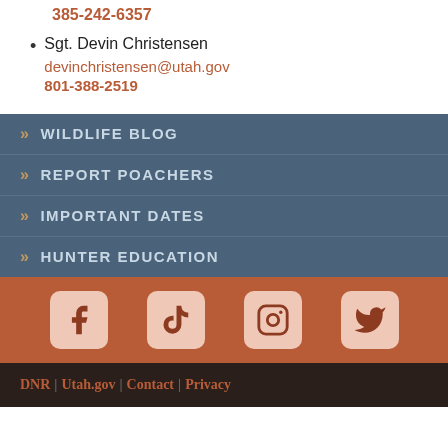385-242-6357
Sgt. Devin Christensen
devinchristensen@utah.gov
801-388-2519
WILDLIFE BLOG
REPORT POACHERS
IMPORTANT DATES
HUNTER EDUCATION
[Figure (infographic): Social media icons: Facebook, TikTok, Instagram, Twitter on orange background]
DNR | Utah.gov | Contact | Privacy